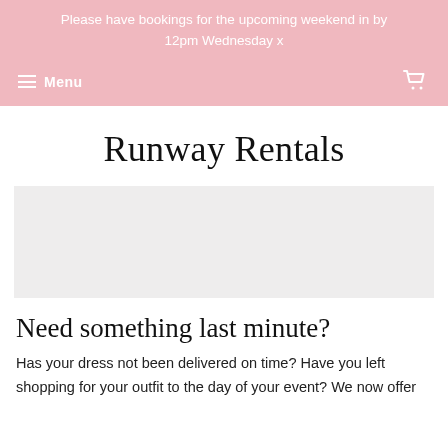Please have bookings for the upcoming weekend in by 12pm Wednesday x
Menu
Runway Rentals
[Figure (other): Light grey placeholder image block for hero banner]
Need something last minute?
Has your dress not been delivered on time? Have you left shopping for your outfit to the day of your event? We now offer